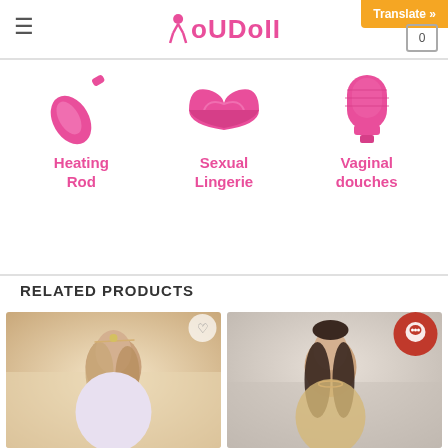IoUDoII — Translate » [0]
[Figure (illustration): Three category icons: Heating Rod (pink rod icon), Sexual Lingerie (pink bra icon), Vaginal douches (pink bulb icon)]
Heating Rod
Sexual Lingerie
Vaginal douches
RELATED PRODUCTS
[Figure (photo): Blonde elf-like doll figure in white dress with floral headpiece]
[Figure (photo): Brunette doll figure with long hair, neutral background, with red chat icon overlay]